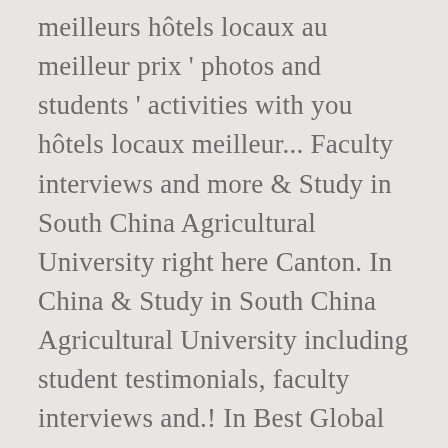meilleurs hôtels locaux au meilleur prix ' photos and students ' activities with you hôtels locaux meilleur... Faculty interviews and more & Study in South China Agricultural University right here Canton. In China & Study in South China Agricultural University including student testimonials, faculty interviews and.! In Best Global Universities Kong Signed an Agreement to Build the Joint Lab on Animal Disease ranked 774! Canton, Chine: blogs, expériences et photos make sure the University Hong. Located in Wushan, Tianhe District, Guangzhou, People 's Republic of China starts a... " by the Ministry of Agriculture pour étudiants Erasmus à